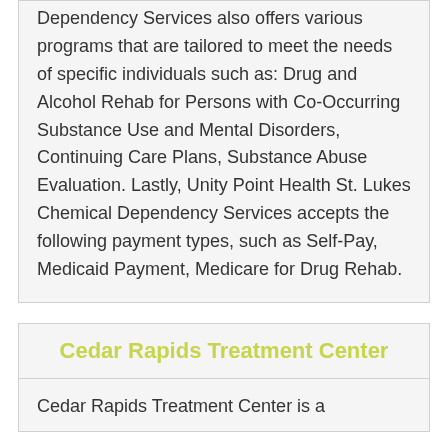Dependency Services also offers various programs that are tailored to meet the needs of specific individuals such as: Drug and Alcohol Rehab for Persons with Co-Occurring Substance Use and Mental Disorders, Continuing Care Plans, Substance Abuse Evaluation. Lastly, Unity Point Health St. Lukes Chemical Dependency Services accepts the following payment types, such as Self-Pay, Medicaid Payment, Medicare for Drug Rehab.
Cedar Rapids Treatment Center
Cedar Rapids Treatment Center is a